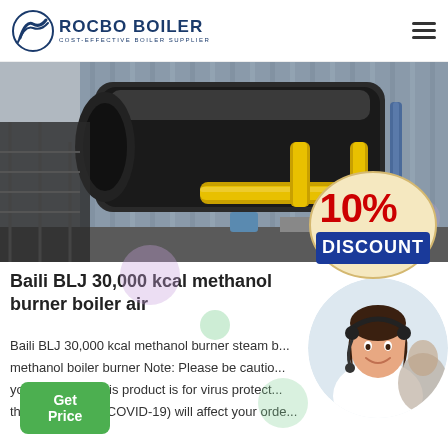[Figure (logo): Rocbo Boiler logo with circular wave icon and text 'ROCBO BOILER - COST-EFFECTIVE BOILER SUPPLIER']
[Figure (photo): Industrial boiler equipment photo showing large cylindrical boiler with yellow piping in a factory setting, with a 10% DISCOUNT badge overlaid]
Baili BLJ 30,000 kcal methanol burner boiler air
Baili BLJ 30,000 kcal methanol burner steam b... methanol boiler burner Note: Please be cautio... your supplier if this product is for virus protect... the coronavirus (COVID-19) will affect your orde...
[Figure (photo): Customer service representative woman wearing headset, smiling]
Get Price